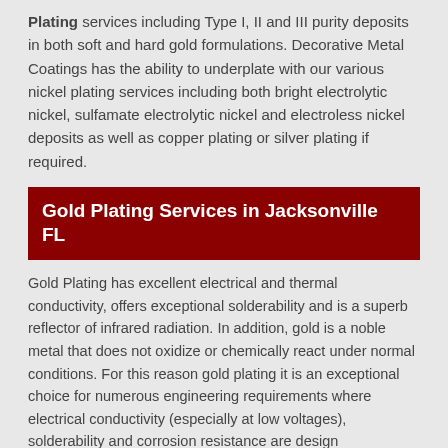Plating services including Type I, II and III purity deposits in both soft and hard gold formulations. Decorative Metal Coatings has the ability to underplate with our various nickel plating services including both bright electrolytic nickel, sulfamate electrolytic nickel and electroless nickel deposits as well as copper plating or silver plating if required.
Gold Plating Services in Jacksonville FL
Gold Plating has excellent electrical and thermal conductivity, offers exceptional solderability and is a superb reflector of infrared radiation. In addition, gold is a noble metal that does not oxidize or chemically react under normal conditions. For this reason gold plating it is an exceptional choice for numerous engineering requirements where electrical conductivity (especially at low voltages), solderability and corrosion resistance are design requirements.
Decorative Metal Coatings offers Gold Plating services in both